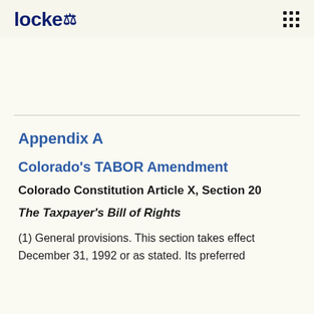locke [logo with flame icon]
Appendix A
Colorado's TABOR Amendment
Colorado Constitution Article X, Section 20
The Taxpayer's Bill of Rights
(1) General provisions. This section takes effect December 31, 1992 or as stated. Its preferred